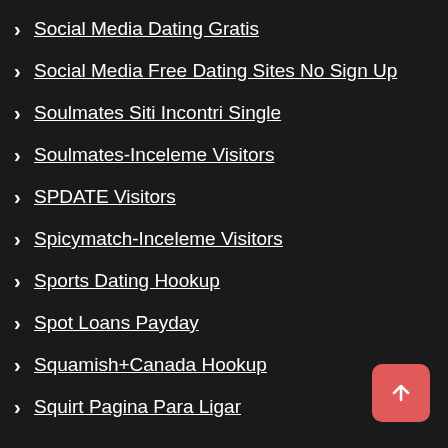› Social Media Dating Gratis
› Social Media Free Dating Sites No Sign Up
› Soulmates Siti Incontri Single
› Soulmates-Inceleme Visitors
› SPDATE Visitors
› Spicymatch-Inceleme Visitors
› Sports Dating Hookup
› Spot Loans Payday
› Squamish+Canada Hookup
› Squirt Pagina Para Ligar